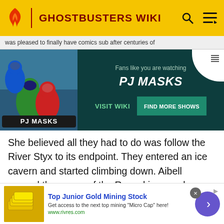GHOSTBUSTERS WIKI
was pleased to finally have comics sub after centuries of
[Figure (screenshot): PJ Masks promotional ad banner with dark teal background. Shows PJ Masks characters on the left, text 'Fans like you are watching PJ MASKS' in the center with 'VISIT WIKI' and 'FIND MORE SHOWS' buttons.]
She believed all they had to do was follow the River Styx to its endpoint. They entered an ice cavern and started climbing down. Aibell sensed the power of the Rauoskinna and transported everyone to Craig Liath. Kylie realized where they were. Aibell called in her favor. Kylie reiterated to Peter she still thought making deals with Faeries was a bad idea. Peter gave the book after Aibell
[Figure (screenshot): Bottom advertisement banner: 'Top Junior Gold Mining Stock' with image of gold bars on left and a purple arrow button on right. URL: www.rivres.com]